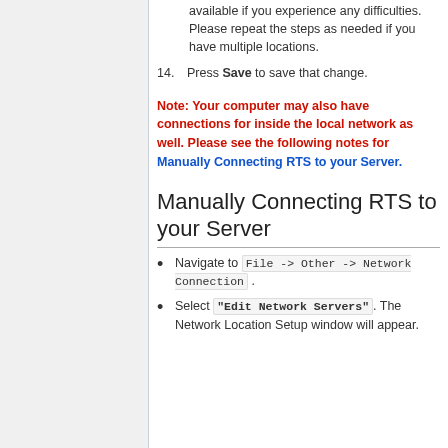available if you experience any difficulties. Please repeat the steps as needed if you have multiple locations.
14. Press Save to save that change.
Note: Your computer may also have connections for inside the local network as well. Please see the following notes for Manually Connecting RTS to your Server.
Manually Connecting RTS to your Server
Navigate to File -> Other -> Network Connection .
Select "Edit Network Servers". The Network Location Setup window will appear.